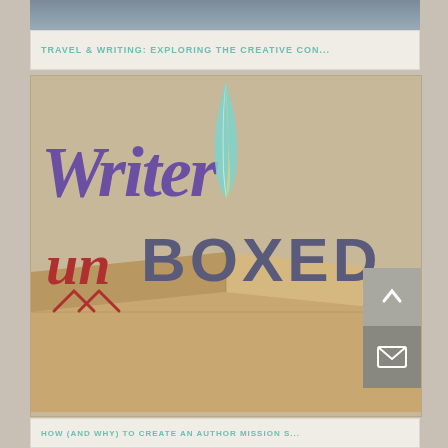TRAVEL & WRITING: EXPLORING THE CREATIVE CON...
[Figure (logo): Writer Unboxed logo with a feather quill above the text 'Writer' in large purple italic script, 'un' in red cursive with caret marks, and 'BOXED' in bold dark purple/slate letters. A cardboard box graphic forms the background bottom half.]
HOW (AND WHY) TO CREATE AN AUTHOR MISSION S...